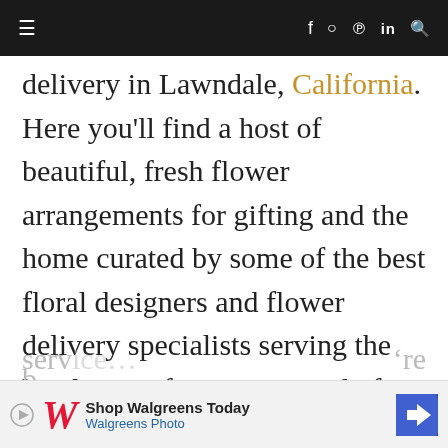≡  f  ○  ℗  in  🔍
delivery in Lawndale, California. Here you'll find a host of beautiful, fresh flower arrangements for gifting and the home curated by some of the best floral designers and flower delivery specialists serving the local area. If you're in need of fresh blooms in a snap, many of these excellent florists also offer same-day flower delivery in Lawndale throughout the week in addition to daily delivery serv... 're b...
[Figure (other): Walgreens advertisement banner: 'Shop Walgreens Today' with Walgreens Photo logo (red cursive W) and blue navigation arrow icon]